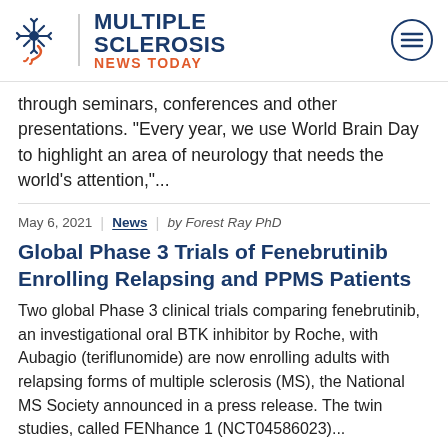[Figure (logo): Multiple Sclerosis News Today logo with snowflake/neuron icon and hamburger menu button]
through seminars, conferences and other presentations. “Every year, we use World Brain Day to highlight an area of neurology that needs the world’s attention,”...
May 6, 2021 | News | by Forest Ray PhD
Global Phase 3 Trials of Fenebrutinib Enrolling Relapsing and PPMS Patients
Two global Phase 3 clinical trials comparing fenebrutinib, an investigational oral BTK inhibitor by Roche, with Aubagio (teriflunomide) are now enrolling adults with relapsing forms of multiple sclerosis (MS), the National MS Society announced in a press release. The twin studies, called FENhance 1 (NCT04586023)...